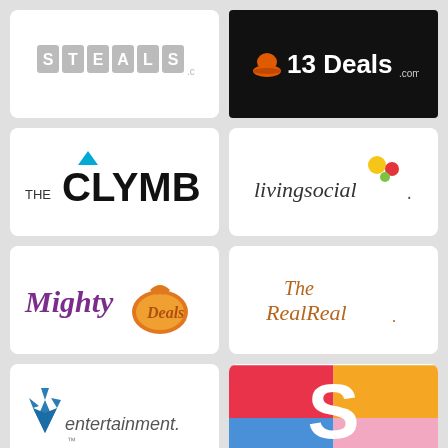[Figure (logo): Steals.com logo - gray uppercase letters with .com]
[Figure (logo): 13 Deals.com logo - orange hat icon with white text on black background]
[Figure (logo): The Clymb logo - bold black text with blue triangle accent]
[Figure (logo): LivingSocial logo - stylized text with colorful bubbles]
[Figure (logo): Mighty Deals logo - purple italic text with orange coin bag graphic]
[Figure (logo): The RealReal logo - brown serif italic text]
[Figure (logo): Entertainment.com logo - blue diamond crown icon with italic text]
[Figure (logo): Colorful geometric logo with red, yellow, blue, pink sections and white S letter]